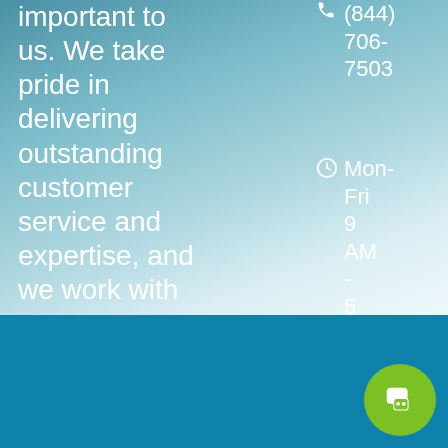important to us. We take pride in delivering outstanding customer service and expertise, and we work with great organizations.
(844) 706-7503
Mon-Fri 9 AM - 5 PM
Grand Strand.
GET A FREE QUOTE